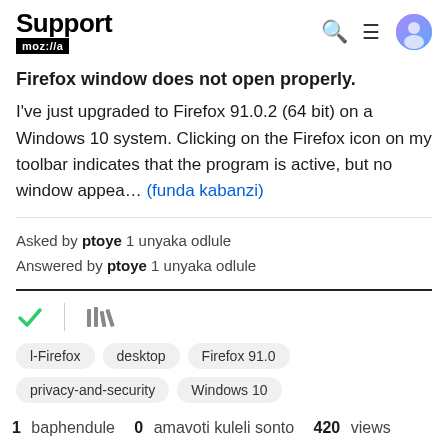Support mozilla // [search] [menu] [avatar]
Firefox window does not open properly.
I've just upgraded to Firefox 91.0.2 (64 bit) on a Windows 10 system. Clicking on the Firefox icon on my toolbar indicates that the program is active, but no window appea… (funda kabanzi)
Asked by ptoye 1 unyaka odlule
Answered by ptoye 1 unyaka odlule
[Figure (other): Check mark icon and library/bookmark icon]
l-Firefox   desktop   Firefox 91.0   privacy-and-security   Windows 10
1 baphendule  0 amavoti kuleli sonto  420 views